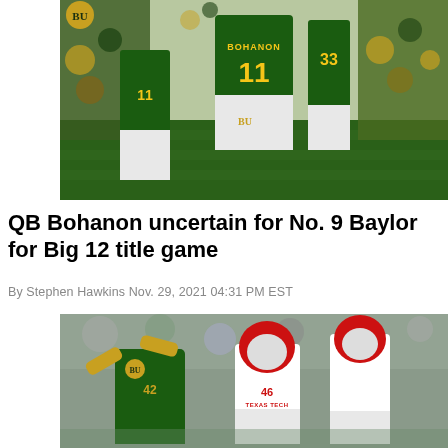[Figure (photo): Baylor football player #11 Bohanon in green and gold jersey walking on field with player #33 visible, crowds of fans in green and gold surrounding them]
QB Bohanon uncertain for No. 9 Baylor for Big 12 title game
By Stephen Hawkins Nov. 29, 2021 04:31 PM EST
[Figure (photo): Baylor player in green and gold uniform with arms raised blocking Texas Tech player #46 in white and red uniform during football game with crowd in background]